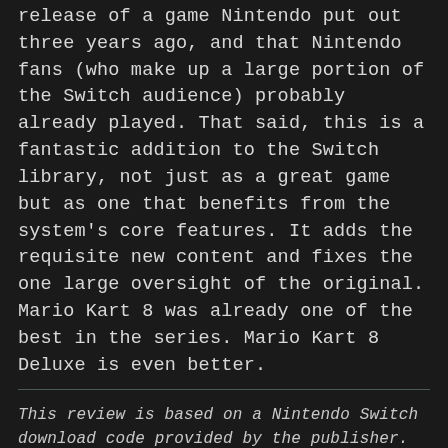release of a game Nintendo put out three years ago, and that Nintendo fans (who make up a large portion of the Switch audience) probably already played. That said, this is a fantastic addition to the Switch library, not just as a great game but as one that benefits from the system's core features. It adds the requisite new content and fixes the one large oversight of the original. Mario Kart 8 was already one of the best in the series. Mario Kart 8 Deluxe is even better.
This review is based on a Nintendo Switch download code provided by the publisher. Mario Kart 8 Deluxe will be available in retail and digital stores on April 28, for $59.99. The game is rated E.